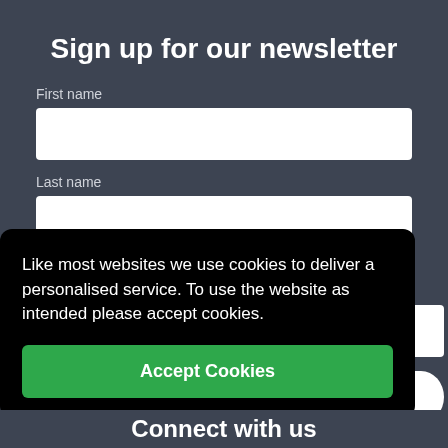Sign up for our newsletter
First name
Last name
Like most websites we use cookies to deliver a personalised service. To use the website as intended please accept cookies.
Accept Cookies
Connect with us